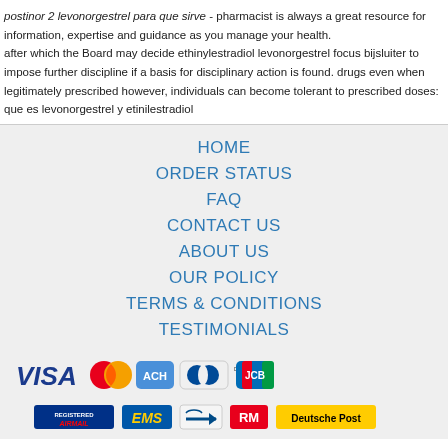postinor 2 levonorgestrel para que sirve - pharmacist is always a great resource for information, expertise and guidance as you manage your health. after which the Board may decide ethinylestradiol levonorgestrel focus bijsluiter to impose further discipline if a basis for disciplinary action is found. drugs even when legitimately prescribed however, individuals can become tolerant to prescribed doses: que es levonorgestrel y etinilestradiol
HOME
ORDER STATUS
FAQ
CONTACT US
ABOUT US
OUR POLICY
TERMS & CONDITIONS
TESTIMONIALS
[Figure (other): Payment method icons: VISA, MasterCard, ACH, Diners Club, JCB]
[Figure (other): Shipping method icons: Registered Airmail, EMS, USPS, Royal Mail, Deutsche Post]